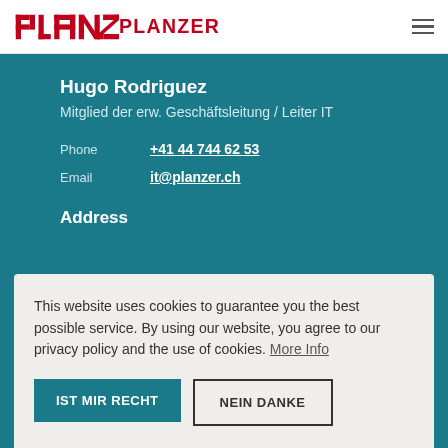PLANZER
Hugo Rodriguez
Mitglied der erw. Geschäftsleitung / Leiter IT
Phone +41 44 744 62 53
Email it@planzer.ch
Address
This website uses cookies to guarantee you the best possible service. By using our website, you agree to our privacy policy and the use of cookies. More Info
IST MIR RECHT
NEIN DANKE